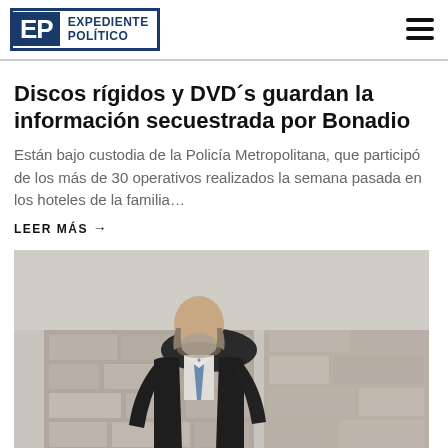EXPEDIENTE POLÍTICO
Discos rígidos y DVD´s guardan la información secuestrada por Bonadio
Están bajo custodia de la Policía Metropolitana, que participó de los más de 30 operativos realizados la semana pasada en los hoteles de la familia…
LEER MÁS →
[Figure (photo): Man in dark coat and blue tie walking in front of stone wall]